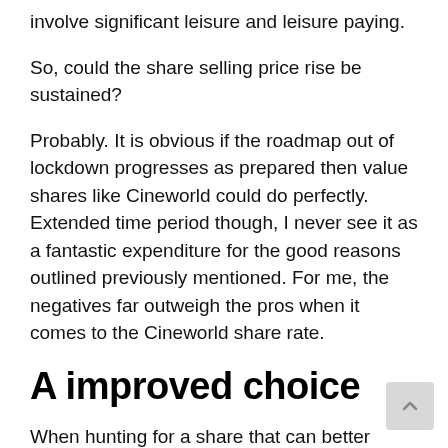involve significant leisure and leisure paying.
So, could the share selling price rise be sustained?
Probably. It is obvious if the roadmap out of lockdown progresses as prepared then value shares like Cineworld could do perfectly. Extended time period though, I never see it as a fantastic expenditure for the good reasons outlined previously mentioned. For me, the negatives far outweigh the pros when it comes to the Cineworld share rate.
A improved choice
When hunting for a share that can better bounce again from remaining hit tricky by…